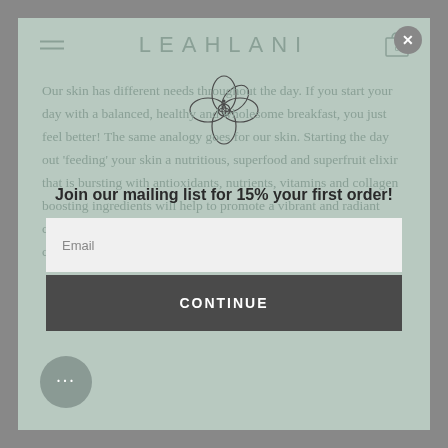[Figure (logo): LEAHLANI brand logo text in light sage green]
[Figure (illustration): Hand-drawn hibiscus flower outline illustration]
Our skin has different needs throughout the day. If you start your day with a balanced, healthy and wholesome breakfast, you just feel better! The same analogy goes for our skin. Starting the day out 'feeding' your skin a nutritious, superfood and superfruit elixir that is bursting with antioxidants, nutrients, vitamins and collagen boosting ingredients will help to promote a vibrant and radiant complexion throughout the day. This is where Aloha Ambrosia comes in.
Join our mailing list for 15% your first order!
Email
CONTINUE